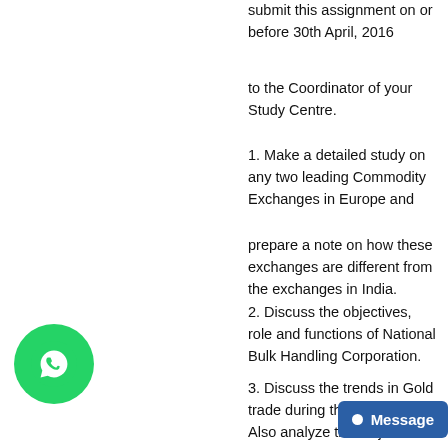submit this assignment on or before 30th April, 2016
to the Coordinator of your Study Centre.
1. Make a detailed study on any two leading Commodity Exchanges in Europe and
prepare a note on how these exchanges are different from the exchanges in India.
2. Discuss the objectives, role and functions of National Bulk Handling Corporation.
3. Discuss the trends in Gold trade during the past 5 years. Also analyze the major
policy changes that have taken place in this.
4. Explain the major events that have led to the volatility in Crude Oil prices during
the last 5 years.